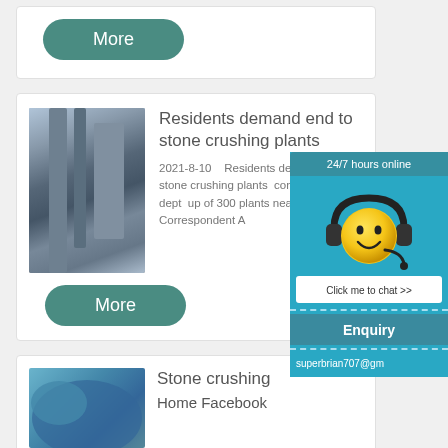[Figure (other): A 'More' button (teal rounded pill button) at the top of the page, partial card visible]
[Figure (photo): Industrial stone crushing plant with pipes and silos against blue sky]
Residents demand end to stone crushing plants
2021-8-10    Residents demand end to stone crushing plants  confirm mining dept  up of 300 plants near  Our Correspondent A
[Figure (other): More button - teal rounded pill]
[Figure (photo): Blue industrial stone crushing equipment]
Stone crushing  Home Facebook
[Figure (other): Chat widget overlay: 24/7 hours online, smiley face with headset, Click me to chat >>, Enquiry, superbrian707@gm]